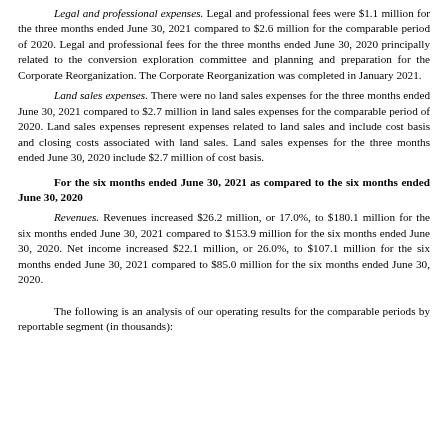Legal and professional expenses. Legal and professional fees were $1.1 million for the three months ended June 30, 2021 compared to $2.6 million for the comparable period of 2020. Legal and professional fees for the three months ended June 30, 2020 principally related to the conversion exploration committee and planning and preparation for the Corporate Reorganization. The Corporate Reorganization was completed in January 2021.
Land sales expenses. There were no land sales expenses for the three months ended June 30, 2021 compared to $2.7 million in land sales expenses for the comparable period of 2020. Land sales expenses represent expenses related to land sales and include cost basis and closing costs associated with land sales. Land sales expenses for the three months ended June 30, 2020 include $2.7 million of cost basis.
For the six months ended June 30, 2021 as compared to the six months ended June 30, 2020
Revenues. Revenues increased $26.2 million, or 17.0%, to $180.1 million for the six months ended June 30, 2021 compared to $153.9 million for the six months ended June 30, 2020. Net income increased $22.1 million, or 26.0%, to $107.1 million for the six months ended June 30, 2021 compared to $85.0 million for the six months ended June 30, 2020.
The following is an analysis of our operating results for the comparable periods by reportable segment (in thousands):